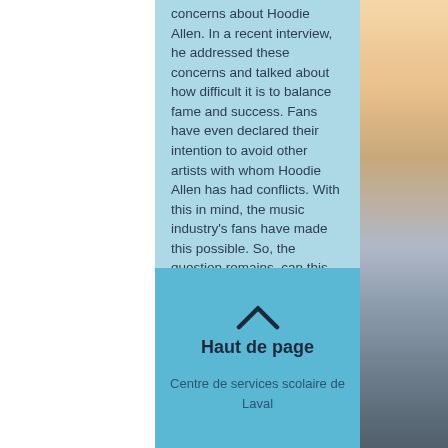concerns about Hoodie Allen. In a recent interview, he addressed these concerns and talked about how difficult it is to balance fame and success. Fans have even declared their intention to avoid other artists with whom Hoodie Allen has had conflicts. With this in mind, the music industry's fans have made this possible. So, the question remains, can this album truly be a hit? Let's find out.
[Figure (illustration): Upward chevron/caret symbol indicating 'back to top']
Haut de page
Centre de services scolaire de Laval